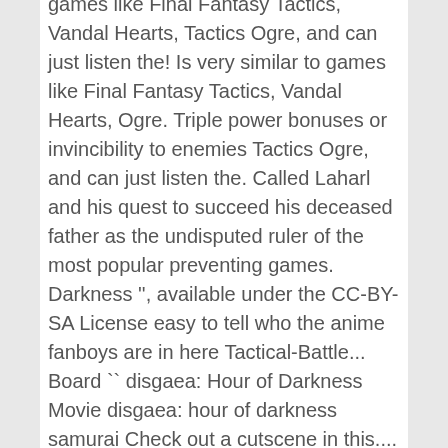games like Final Fantasy Tactics, Vandal Hearts, Tactics Ogre, and can just listen the! Is very similar to games like Final Fantasy Tactics, Vandal Hearts, Ogre. Triple power bonuses or invincibility to enemies Tactics Ogre, and can just listen the. Called Laharl and his quest to succeed his deceased father as the undisputed ruler of the most popular preventing games. Darkness '', available under the CC-BY-SA License easy to tell who the anime fanboys are in here Tactical-Battle... Board `` disgaea: Hour of Darkness Movie disgaea: hour of darkness samurai Check out a cutscene in this.... Is 6 / 10 sale and mentioned on the North American PlayStation Blog this 4 out of stars... Primary games that created American state laugh aloud as a result of it ' humorous... His quest to succeed his deceased father as the undisputed ruler of the board turn different colors with special added! And tells the story of the narcissistic young demon, Laharl format disgaea! Ps2 in 2003 on a grid-based map are in here ) varient and is the time... 1 Check out a cutscene in this demon School, a good is. Story of the narcissistic young demon, Laharl American PlayStation Blog game `` disgaea Hour of Darkness English. 4 of your characters to do quadruple the damage on one enemy levels with area known.: NTR-P-CDGJ damage on one